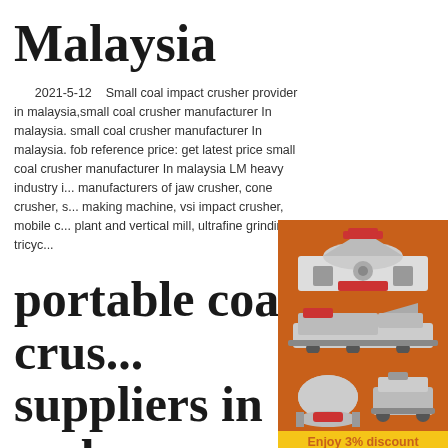Malaysia
2021-5-12   Small coal impact crusher provider in malaysia,small coal crusher manufacturer In malaysia. small coal crusher manufacturer In malaysia. fob reference price: get latest price small coal crusher manufacturer In malaysia LM heavy industry is manufacturers of jaw crusher, cone crusher, s... making machine, vsi impact crusher, mobile c... plant and vertical mill, ultrafine grinding, tricyc...
portable coal crus... suppliers in mala...
[Figure (illustration): Orange sidebar advertisement showing industrial mining/crushing machines (cone crusher, mobile crusher, ball mill) with discount and chat buttons]
Enquiry
limingjlmofen@sina.com
2021-6-25   coal portable crusher provide... malaysia Crusher Mill. coal portable crusher p... malaysia Portable Dolomite Impact Crusher P... Malaysia used jaw crusher . malaysia. mobile ... crusher provider for .